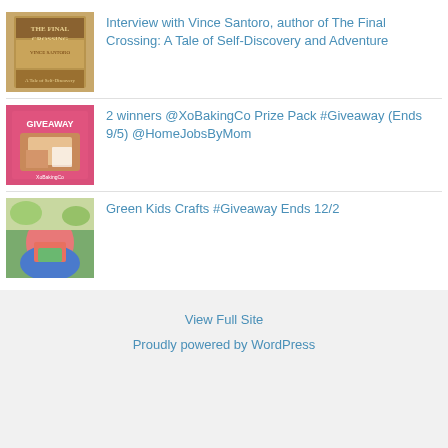Interview with Vince Santoro, author of The Final Crossing: A Tale of Self-Discovery and Adventure
2 winners @XoBakingCo Prize Pack #Giveaway (Ends 9/5) @HomeJobsByMom
Green Kids Crafts #Giveaway Ends 12/2
View Full Site
Proudly powered by WordPress